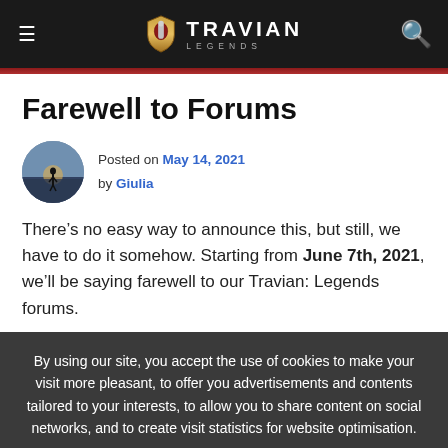Travian Legends
Farewell to Forums
Posted on May 14, 2021 by Giulia
There’s no easy way to announce this, but still, we have to do it somehow. Starting from June 7th, 2021, we’ll be saying farewell to our Travian: Legends forums.
By using our site, you accept the use of cookies to make your visit more pleasant, to offer you advertisements and contents tailored to your interests, to allow you to share content on social networks, and to create visit statistics for website optimisation.